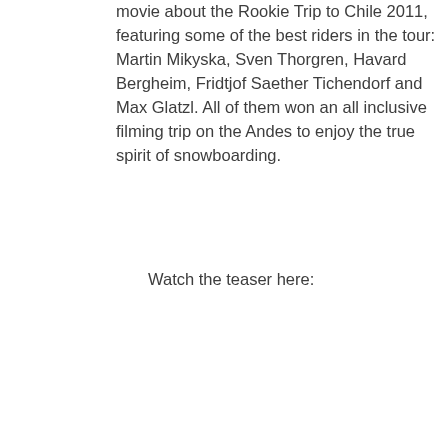movie about the Rookie Trip to Chile 2011, featuring some of the best riders in the tour: Martin Mikyska, Sven Thorgren, Havard Bergheim, Fridtjof Saether Tichendorf and Max Glatzl. All of them won an all inclusive filming trip on the Andes to enjoy the true spirit of snowboarding.
Watch the teaser here: